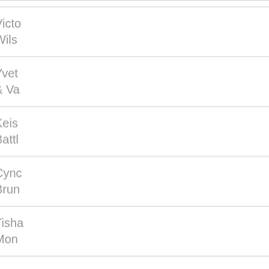| Role/Committee | Person(s) |
| --- | --- |
| Event Coordinator | Victo... Wils... |
| International Awareness & Involvement | Yvet... & Va... |
| Jabberwock | Keis... Battl... |
| May Week | Cync... Brun... |
| Membership Services | Tisha... Mon... |
| Physical & Mental Health | Jacq... Sher... Goo... |
| Nominating |  |
| Political Awareness & Involvement/Social Action |  |